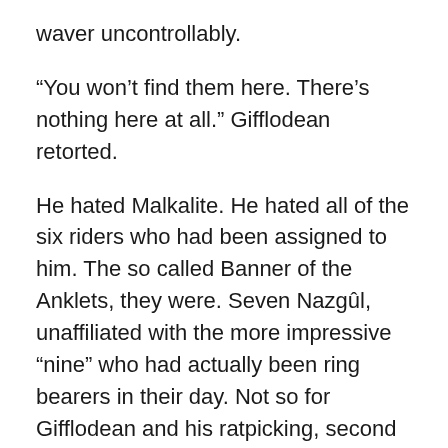waver uncontrollably.
“You won’t find them here. There’s nothing here at all.” Gifflodean retorted.
He hated Malkalite. He hated all of the six riders who had been assigned to him. The so called Banner of the Anklets, they were. Seven Nazgûl, unaffiliated with the more impressive “nine” who had actually been ring bearers in their day. Not so for Gifflodean and his ratpicking, second rate cavalry. They had all sold their souls for jewelled anklets from Sauron. Jewelled anklets had been much more in vogue for marauding kings 700 years earlier. These days, his missing anklet brought him much pain. Every waking moment — which is to say, every moment as he was now a sleepless ghoul– he could feel the searing, phantom touch of his lost anklet. It was heavy